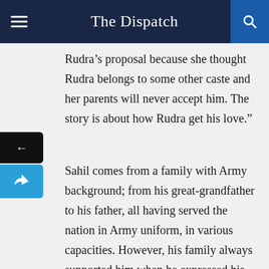The Dispatch
Rudra’s proposal because she thought Rudra belongs to some other caste and her parents will never accept him. The story is about how Rudra get his love.”
Sahil comes from a family with Army background; from his great-grandfather to his father, all having served the nation in Army uniform, in various capacities. However, his family always supported him when he expressed his desire to write a book. He shares, “It was always encouraging whenever I talked to my